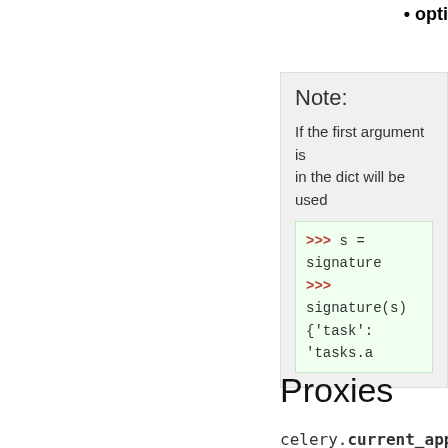opti
Note:

If the first argument is in the dict will be used
>>> s = signature
>>> signature(s)
{'task': 'tasks.a
Proxies
celery.current_app
The currently set app f
celery. [v: master] ash
The task currently bein used).